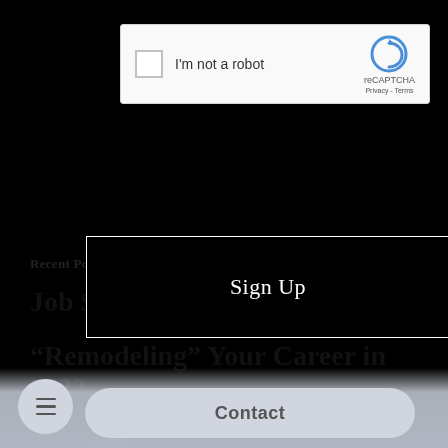[Figure (screenshot): reCAPTCHA widget with checkbox labeled 'I'm not a robot' and reCAPTCHA logo with Privacy and Terms links]
[Figure (screenshot): Black 'Sign Up' button with white border and white text]
Recent Posts
Job Search Plans
“Remodeling” Your Career in 2022
[Figure (screenshot): Mobile bottom navigation bar with hamburger menu button and Contact button, partially visible post title text 'Wi...' and 'edL...']